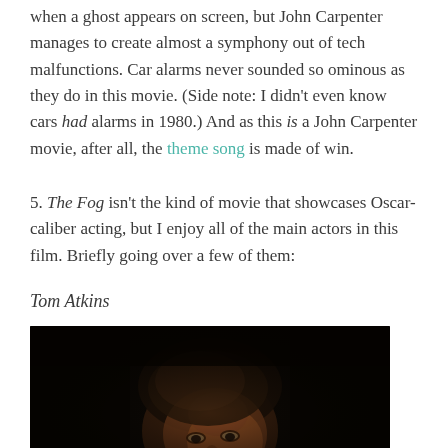when a ghost appears on screen, but John Carpenter manages to create almost a symphony out of tech malfunctions. Car alarms never sounded so ominous as they do in this movie. (Side note: I didn't even know cars had alarms in 1980.) And as this is a John Carpenter movie, after all, the theme song is made of win.
5. The Fog isn't the kind of movie that showcases Oscar-caliber acting, but I enjoy all of the main actors in this film. Briefly going over a few of them:
Tom Atkins
[Figure (photo): Dark cinematic photo of a man (Tom Atkins) with brown hair, lit from below/side, face partially visible against dark background]